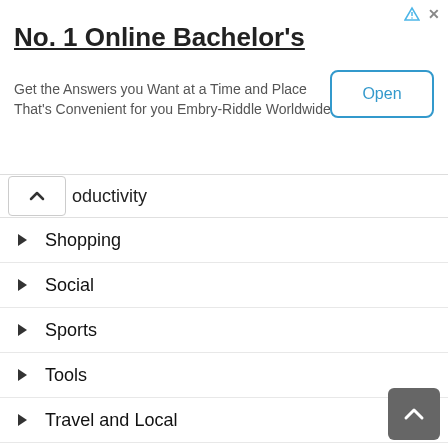[Figure (screenshot): Advertisement banner for Embry-Riddle Worldwide online bachelor's degree with Open button]
oductivity
Shopping
Social
Sports
Tools
Travel and Local
VideoPlayers and Editors
WearOSbyGoogle
Weather